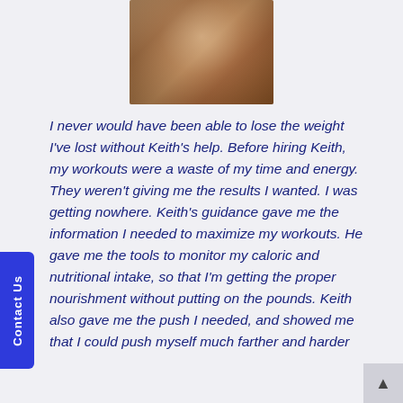[Figure (photo): Portrait photo of a smiling woman with brown hair]
I never would have been able to lose the weight I've lost without Keith's help. Before hiring Keith, my workouts were a waste of my time and energy. They weren't giving me the results I wanted. I was getting nowhere. Keith's guidance gave me the information I needed to maximize my workouts. He gave me the tools to monitor my caloric and nutritional intake, so that I'm getting the proper nourishment without putting on the pounds. Keith also gave me the push I needed, and showed me that I could push myself much farther and harder